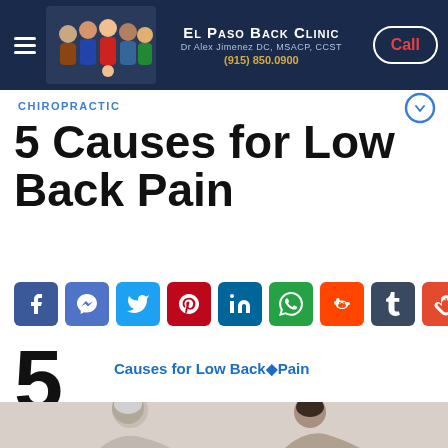[Figure (screenshot): El Paso Back Clinic website header with logo, doctor name, phone number, and Call button on dark navy background]
CHIROPRACTIC
5 Causes for Low Back Pain
[Figure (infographic): Social media share icons row: Facebook, Messenger, Twitter, Pinterest, LinkedIn, WhatsApp, Reddit, Tumblr, StumbleUpon]
[Figure (infographic): Large number 5 with underline and text: Causes for Low Back Pain]
[Figure (photo): Elderly woman and younger person sitting back to back, both appearing to have back pain]